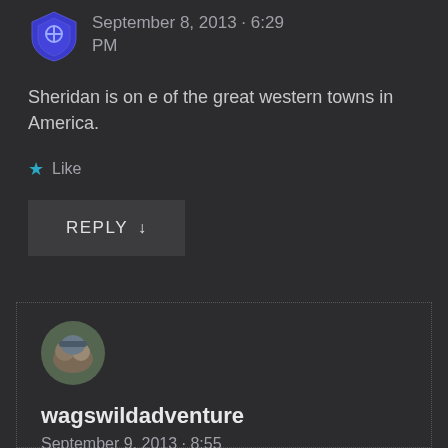September 8, 2013 · 6:29 PM
Sheridan is on e of the great western towns in America.
★ Like
REPLY ↓
[Figure (photo): Circular avatar photo of two people (wagswildadventure)]
wagswildadventure
September 9, 2013 · 8:55 AM
Yes. We walked the old downtown area and